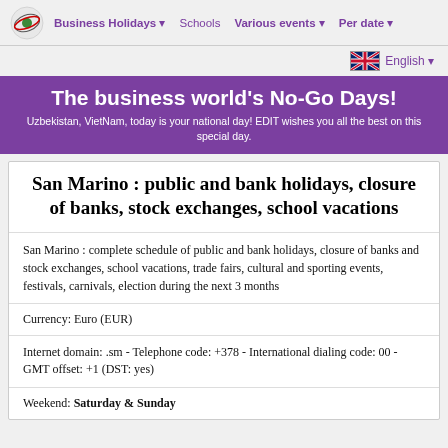Business Holidays | Schools | Various events | Per date
English
The business world's No-Go Days!
Uzbekistan, VietNam, today is your national day! EDIT wishes you all the best on this special day.
San Marino : public and bank holidays, closure of banks, stock exchanges, school vacations
San Marino : complete schedule of public and bank holidays, closure of banks and stock exchanges, school vacations, trade fairs, cultural and sporting events, festivals, carnivals, election during the next 3 months
Currency: Euro (EUR)
Internet domain: .sm - Telephone code: +378 - International dialing code: 00 - GMT offset: +1 (DST: yes)
Weekend: Saturday & Sunday